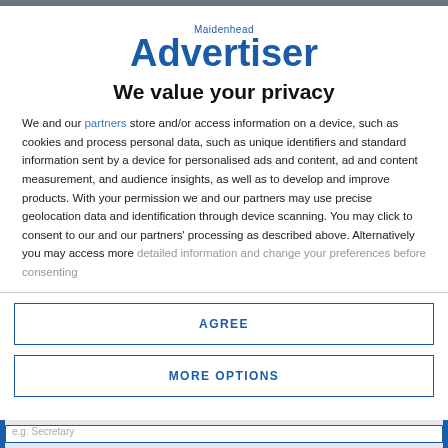[Figure (logo): Maidenhead Advertiser logo — 'Maidenhead' in small blue text above large bold blue 'Advertiser' wordmark]
We value your privacy
We and our partners store and/or access information on a device, such as cookies and process personal data, such as unique identifiers and standard information sent by a device for personalised ads and content, ad and content measurement, and audience insights, as well as to develop and improve products. With your permission we and our partners may use precise geolocation data and identification through device scanning. You may click to consent to our and our partners' processing as described above. Alternatively you may access more detailed information and change your preferences before consenting
AGREE
MORE OPTIONS